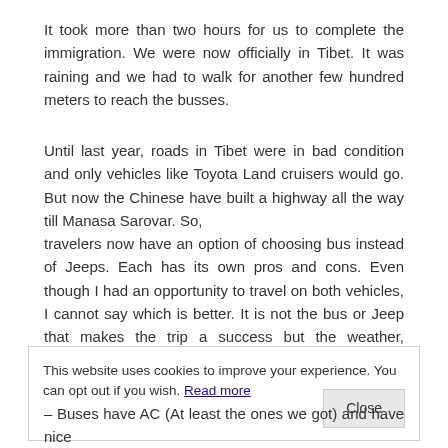It took more than two hours for us to complete the immigration. We were now officially in Tibet. It was raining and we had to walk for another few hundred meters to reach the busses.
Until last year, roads in Tibet were in bad condition and only vehicles like Toyota Land cruisers would go. But now the Chinese have built a highway all the way till Manasa Sarovar. So, travelers now have an option of choosing bus instead of Jeeps. Each has its own pros and cons. Even though I had an opportunity to travel on both vehicles, I cannot say which is better. It is not the bus or Jeep that makes the trip a success but the weather, Sherpas, Travel agent, Chinese
This website uses cookies to improve your experience. You can opt out if you wish. Read more
– Buses have AC (At least the ones we got) and have nice